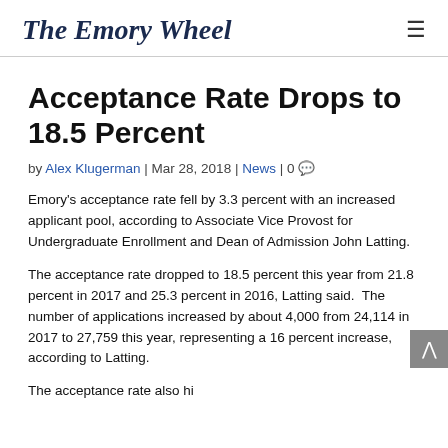The Emory Wheel
Acceptance Rate Drops to 18.5 Percent
by Alex Klugerman | Mar 28, 2018 | News | 0
Emory's acceptance rate fell by 3.3 percent with an increased applicant pool, according to Associate Vice Provost for Undergraduate Enrollment and Dean of Admission John Latting.
The acceptance rate dropped to 18.5 percent this year from 21.8 percent in 2017 and 25.3 percent in 2016, Latting said.  The number of applications increased by about 4,000 from 24,114 in 2017 to 27,759 this year, representing a 16 percent increase, according to Latting.
The acceptance rate also...